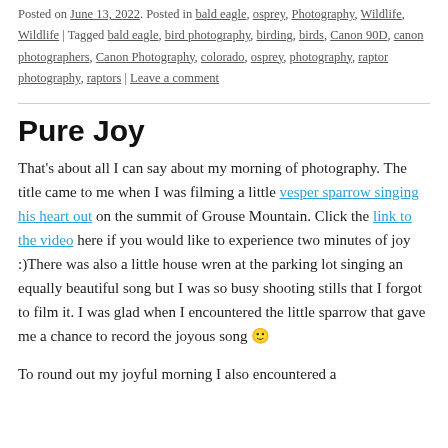Posted on June 13, 2022. Posted in bald eagle, osprey, Photography, Wildlife, Wildlife | Tagged bald eagle, bird photography, birding, birds, Canon 90D, canon photographers, Canon Photography, colorado, osprey, photography, raptor photography, raptors | Leave a comment
Pure Joy
That's about all I can say about my morning of photography. The title came to me when I was filming a little vesper sparrow singing his heart out on the summit of Grouse Mountain. Click the link to the video here if you would like to experience two minutes of joy :)There was also a little house wren at the parking lot singing an equally beautiful song but I was so busy shooting stills that I forgot to film it. I was glad when I encountered the little sparrow that gave me a chance to record the joyous song 🙂
To round out my joyful morning I also encountered a